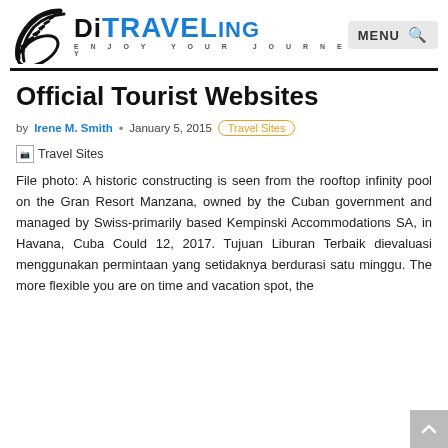[Figure (logo): DitraveLing travel blog logo with tire track graphic on the left and stylized brand name text with tagline 'ENJOY YOUR JOURNEY']
MENU  🔍
Official Tourist Websites
by Irene M. Smith • January 5, 2015  Travel Sites
[Figure (photo): Broken/missing image placeholder labeled 'Travel Sites']
File photo: A historic constructing is seen from the rooftop infinity pool on the Gran Resort Manzana, owned by the Cuban government and managed by Swiss-primarily based Kempinski Accommodations SA, in Havana, Cuba Could 12, 2017. Tujuan Liburan Terbaik dievaluasi menggunakan permintaan yang setidaknya berdurasi satu minggu. The more flexible you are on time and vacation spot, the